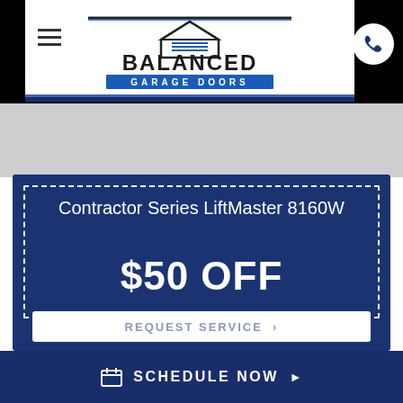[Figure (logo): Balanced Garage Doors logo with house icon and horizontal lines]
Contractor Series LiftMaster 8160W
$50 OFF
REQUEST SERVICE →
SCHEDULE NOW ▸